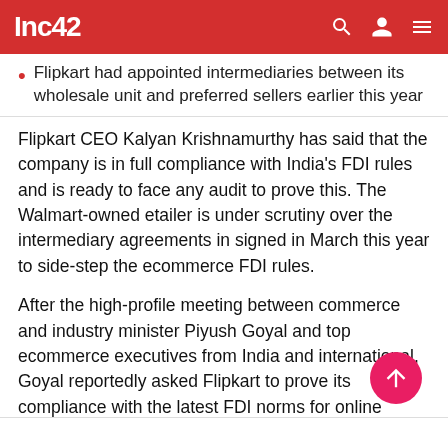Inc42
Flipkart had appointed intermediaries between its wholesale unit and preferred sellers earlier this year
Flipkart CEO Kalyan Krishnamurthy has said that the company is in full compliance with India's FDI rules and is ready to face any audit to prove this. The Walmart-owned etailer is under scrutiny over the intermediary agreements in signed in March this year to side-step the ecommerce FDI rules.
After the high-profile meeting between commerce and industry minister Piyush Goyal and top ecommerce executives from India and international, Goyal reportedly asked Flipkart to prove its compliance with the latest FDI norms for online marketplaces, put into place earlier this year.